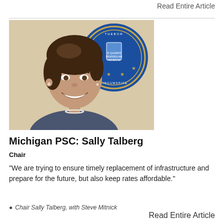Read Entire Article
[Figure (photo): Photo of Sally Talberg smiling, with the Michigan state seal in the background (blue and gold circular seal with the word CIRCUMSPICE visible).]
Michigan PSC: Sally Talberg
Chair
“We are trying to ensure timely replacement of infrastructure and prepare for the future, but also keep rates affordable.”
Chair Sally Talberg, with Steve Mitnick
Read Entire Article